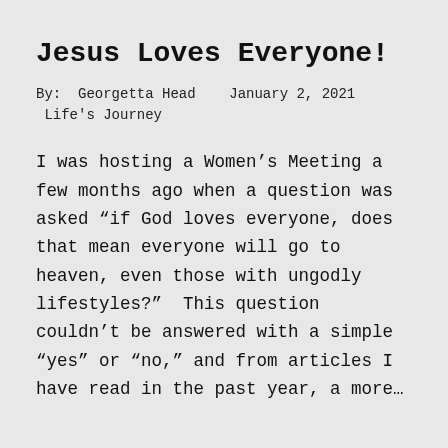Jesus Loves Everyone!
By:  Georgetta Head   January 2, 2021
 Life's Journey
I was hosting a Women’s Meeting a few months ago when a question was asked “if God loves everyone, does that mean everyone will go to heaven, even those with ungodly lifestyles?”  This question couldn’t be answered with a simple “yes” or “no,” and from articles I have read in the past year, a more…